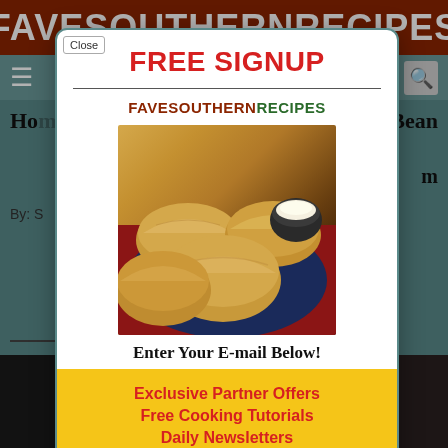FAVESOUTHERNRECIPES
FREE SIGNUP
FAVESOUTHERNRECIPES
[Figure (photo): Plate of golden-brown biscuits with a small bowl of butter on a dark blue plate over a red surface]
Enter Your E-mail Below!
Exclusive Partner Offers
Free Cooking Tutorials
Daily Newsletters
Free Recipes